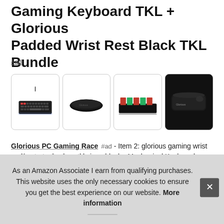Gaming Keyboard TKL + Glorious Padded Wrist Rest Black TKL Bundle
#ad
[Figure (photo): Four product images showing: 1) RGB mechanical keyboard TKL, 2) black wrist rest pad, 3) close-up of keyboard switches with red/green keycaps, 4) angled view of Glorious wrist rest]
Glorious PC Gaming Race #ad - Item 2: glorious gaming wrist pad/rest - tenkeyless tkl size - black - Mechanical Keyboards, Stitched Edges, Ergonomic | 14x4 inches/25mm Thick GWR-87. keyb Swi
As an Amazon Associate I earn from qualifying purchases. This website uses the only necessary cookies to ensure you get the best experience on our website. More information